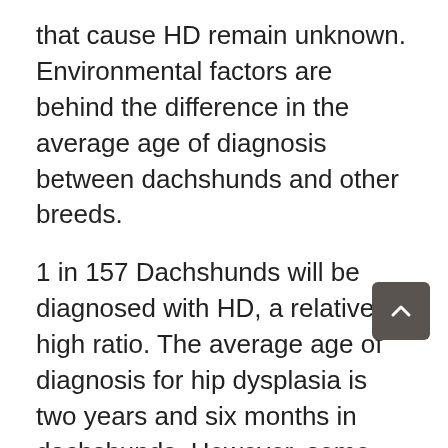that cause HD remain unknown. Environmental factors are behind the difference in the average age of diagnosis between dachshunds and other breeds.
1 in 157 Dachshunds will be diagnosed with HD, a relatively high ratio. The average age of diagnosis for hip dysplasia is two years and six months in dachshunds. However, some dogs are diagnosed with this disease as early as 3.
Environmental factors are behind the